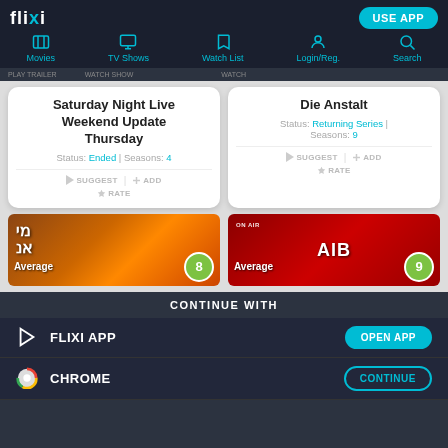flixi — USE APP
[Figure (screenshot): Navigation bar with icons: Movies, TV Shows, Watch List, Login/Reg., Search]
Saturday Night Live Weekend Update Thursday
Status: Ended | Seasons: 4
Die Anstalt
Status: Returning Series | Seasons: 9
[Figure (photo): TV show thumbnail with Hebrew text, Average rating badge showing 8]
[Figure (photo): TV show thumbnail with AIB On Air graphic, Average rating badge showing 9]
CONTINUE WITH
FLIXI APP
CHROME